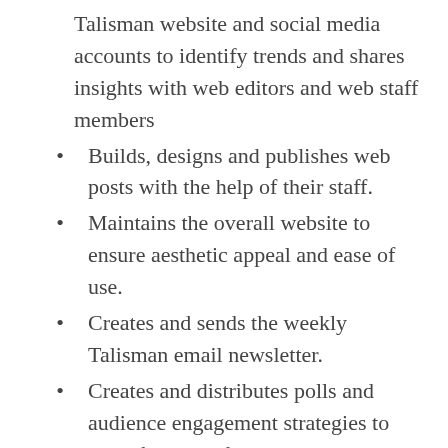Talisman website and social media accounts to identify trends and shares insights with web editors and web staff members
Builds, designs and publishes web posts with the help of their staff.
Maintains the overall website to ensure aesthetic appeal and ease of use.
Creates and sends the weekly Talisman email newsletter.
Creates and distributes polls and audience engagement strategies to elicit feedback from audiences across campus